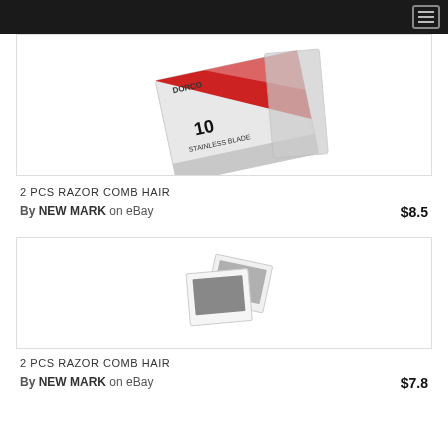Navigation bar with hamburger menu
[Figure (photo): Product image: razor blade pack labeled '10 STAINLESS BLADE' with red triangle design, tilted angle view]
2 PCS RAZOR COMB HAIR
By NEW MARK on eBay $8.5
[Figure (photo): No image available placeholder: stacked photo icons in gray]
2 PCS RAZOR COMB HAIR
By NEW MARK on eBay $7.8